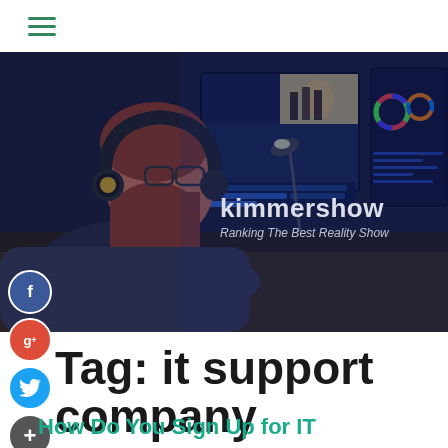≡ (hamburger menu)
[Figure (photo): A bearded man with headphones sitting at a desk with multiple computer monitors showing video editing software, with text overlay 'kimmershow / Ranking The Best Reality Show']
Tag: it support company
How Do You Sign Up for IT